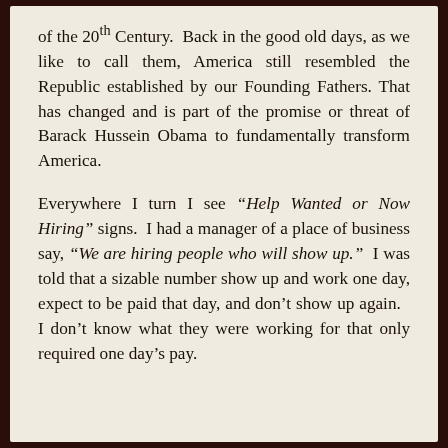of the 20th Century. Back in the good old days, as we like to call them, America still resembled the Republic established by our Founding Fathers. That has changed and is part of the promise or threat of Barack Hussein Obama to fundamentally transform America.
Everywhere I turn I see “Help Wanted or Now Hiring” signs. I had a manager of a place of business say, “We are hiring people who will show up.” I was told that a sizable number show up and work one day, expect to be paid that day, and don’t show up again. I don’t know what they were working for that only required one day’s pay.